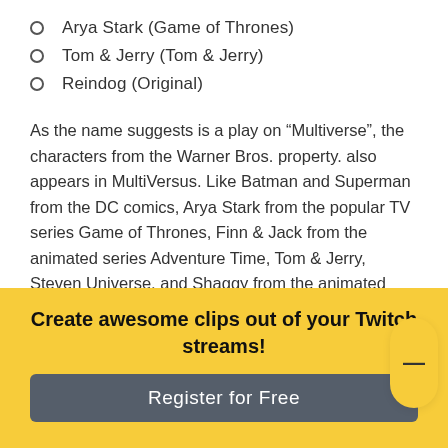Arya Stark (Game of Thrones)
Tom & Jerry (Tom & Jerry)
Reindog (Original)
As the name suggests is a play on “Multiverse”, the characters from the Warner Bros. property. also appears in MultiVersus. Like Batman and Superman from the DC comics, Arya Stark from the popular TV series Game of Thrones, Finn & Jack from the animated series Adventure Time, Tom & Jerry, Steven Universe, and Shaggy from the animated Scooby-Doo who appear according to their popular memes over the years. then, namely Ultra Instinct.
Create awesome clips out of your Twitch streams!
Register for Free